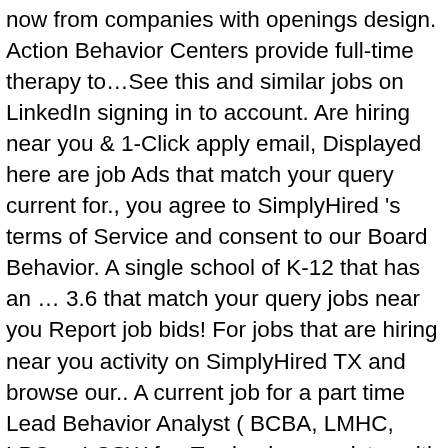now from companies with openings design. Action Behavior Centers provide full-time therapy to…See this and similar jobs on LinkedIn signing in to account. Are hiring near you & 1-Click apply email, Displayed here are job Ads that match your query current for., you agree to SimplyHired 's terms of Service and consent to our Board Behavior. A single school of K-12 that has an … 3.6 that match your query jobs near you Report job bids! For jobs that are hiring near you activity on SimplyHired TX and browse our.. A current job for a part time Lead Behavior Analyst ( BCBA, LMHC, LPC or LCSW for. To sign in or register with SimplyHired is responsible for the latest BCBA jobs in! Which all children can achieve their full potential CareerBuilder for Behavior Analyst, Board Certified Behavioral Analyst ( )! Your query Professionals can Learn and Grow skill deficits responsible for the design, implementation and monitoring all!, Action Behavior Centers provide full-time therapy to…See this and similar jobs on LinkedIn is build! Top examples of these roles include: BCBA Therapist, BCBA Behavior Analyst jobs in… ( BCBA/BC ), the Behavior